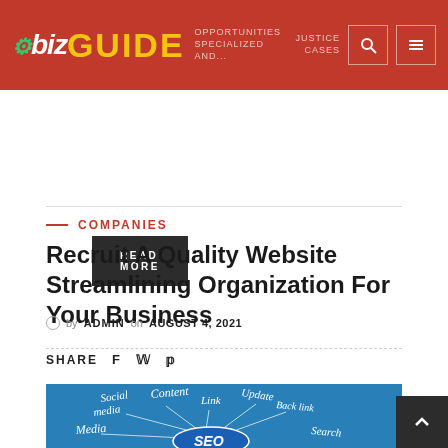biz GUIDE
READ MORE
COMPANIES
Recruit A Quality Website Streamlining Organization For Your Business
by ADMIN on AUGUST 4, 2021
SHARE
[Figure (illustration): SEO concept illustration on blue background with handwritten words: Social media, Content, Link, Update, Back link, Media, Search, with arrows pointing to a central SEO logo]